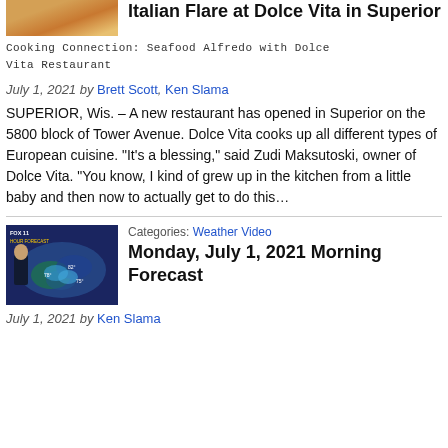[Figure (photo): Thumbnail photo of food, top of article about Italian restaurant]
Italian Flare at Dolce Vita in Superior
Cooking Connection: Seafood Alfredo with Dolce Vita Restaurant
July 1, 2021 by Brett Scott, Ken Slama
SUPERIOR, Wis. – A new restaurant has opened in Superior on the 5800 block of Tower Avenue. Dolce Vita cooks up all different types of European cuisine. “It’s a blessing,” said Zudi Maksutoski, owner of Dolce Vita. “You know, I kind of grew up in the kitchen from a little baby and then now to actually get to do this…
[Figure (screenshot): Thumbnail screenshot of weather forecast segment showing meteorologist with weather map]
Categories: Weather Video
Monday, July 1, 2021 Morning Forecast
July 1, 2021 by Ken Slama